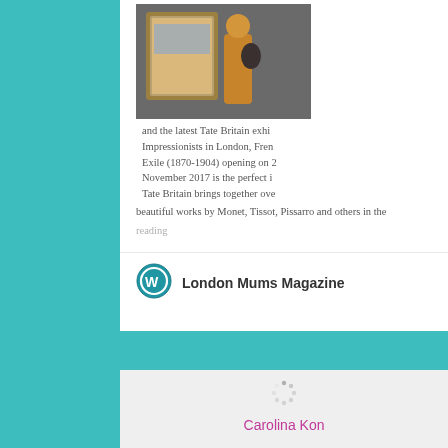[Figure (photo): A person in a yellow top holding a baby or small child, standing in front of a large framed painting in a museum gallery]
and the latest Tate Britain exhibition, Impressionists in London, French Artists in Exile (1870-1904) opening on 2 November 2017 is the perfect inspiration. Tate Britain brings together over beautiful works by Monet, Tissot, Pissarro and others in the reading
[Figure (logo): WordPress logo icon in teal/blue circle]
London Mums Magazine
[Figure (other): Loading spinner dots icon in grey on light grey background]
Carolina Kon